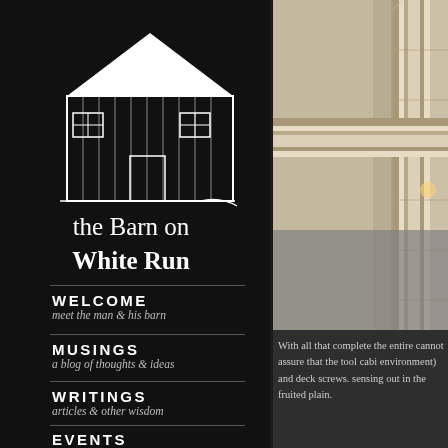[Figure (logo): White line-art illustration of a barn building on black background]
the Barn on White Run
WELCOME
meet the man & his barn
MUSINGS
a blog of thoughts & ideas
WRITINGS
articles & other wisdom
EVENTS
upcoming classes & events
SHOP
DVDs, tools & finishing supplies
[Figure (photo): Close-up photo of ornate white/cream painted picture frame corner detail, showing carved decorative molding]
With all that complete the entire cannot assure that the tool cabi environment) and deck screws. sensing out in the fruited plain.